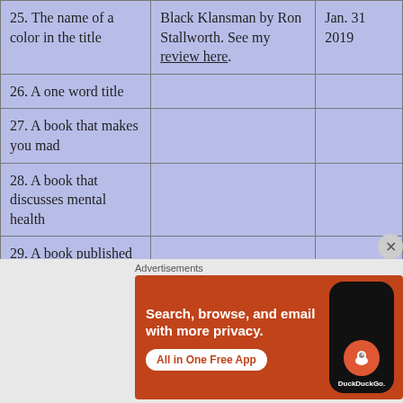| Category | Book | Date |
| --- | --- | --- |
| 25. The name of a color in the title | Black Klansman by Ron Stallworth. See my review here. | Jan. 31 2019 |
| 26. A one word title |  |  |
| 27. A book that makes you mad |  |  |
| 28. A book that discusses mental health |  |  |
| 29. A book published |  |  |
[Figure (other): DuckDuckGo advertisement banner with orange background. Text: 'Search, browse, and email with more privacy. All in One Free App' with DuckDuckGo logo and phone graphic.]